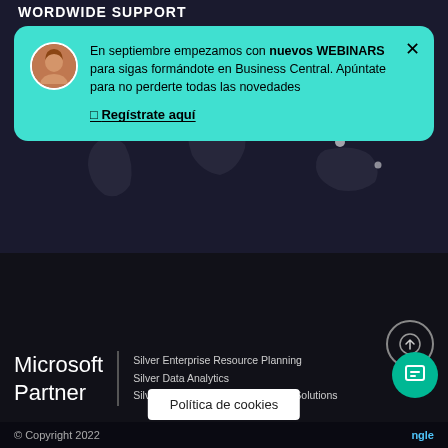WORDWIDE SUPPORT
En septiembre empezamos con nuevos WEBINARS para sigas formándote en Business Central. Apúntate para no perderte todas las novedades
🔲 Regístrate aquí
[Figure (map): Dark world map with light dots indicating worldwide support locations]
[Figure (logo): Microsoft Partner logo with text: Microsoft Partner | Silver Enterprise Resource Planning, Silver Data Analytics, Silver Small and Midmarket Cloud Solutions]
Silver Enterprise Resource Planning
Silver Data Analytics
Silver Small and Midmarket Cloud Solutions
© Copyright 2022    Politica de cookies    ngle